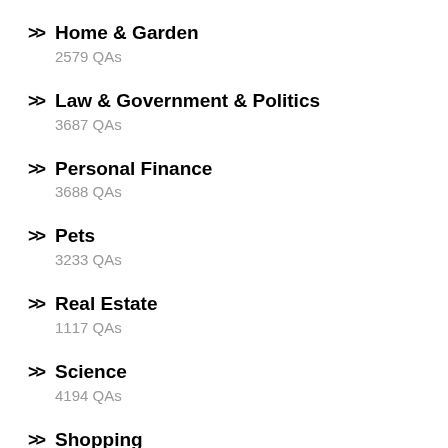Home & Garden
2579 QAs
Law & Government & Politics
3687 QAs
Personal Finance
3688 QAs
Pets
3233 QAs
Real Estate
1117 QAs
Science
4194 QAs
Shopping
557 QAs